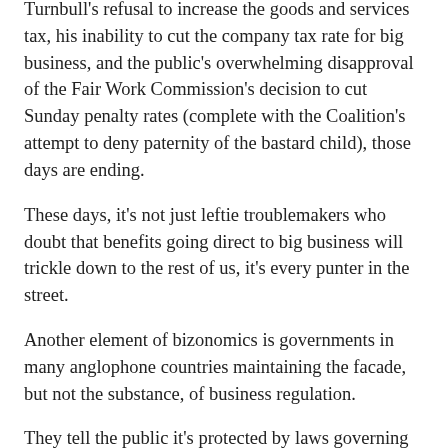Turnbull's refusal to increase the goods and services tax, his inability to cut the company tax rate for big business, and the public's overwhelming disapproval of the Fair Work Commission's decision to cut Sunday penalty rates (complete with the Coalition's attempt to deny paternity of the bastard child), those days are ending.
These days, it's not just leftie troublemakers who doubt that benefits going direct to big business will trickle down to the rest of us, it's every punter in the street.
Another element of bizonomics is governments in many anglophone countries maintaining the facade, but not the substance, of business regulation.
They tell the public it's protected by laws governing treatment of consumers, employees, shareholders, taxpayers and others, but then rob the regulatory agencies – in our case the ACCC, Fair Work Ombudsman, ASIC